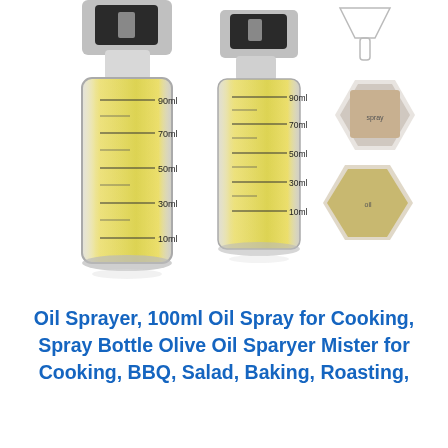[Figure (photo): Product photo showing two glass olive oil spray bottles with silver tops and measurement markings (10ml, 30ml, 50ml, 70ml, 90ml), filled with yellow olive oil. On the right side: a small funnel at top, a hexagonal inset photo of someone spraying oil onto seafood/vegetables, and another hexagonal inset photo of a glass oil cruet with vegetables and oils.]
Oil Sprayer, 100ml Oil Spray for Cooking, Spray Bottle Olive Oil Sparyer Mister for Cooking, BBQ, Salad, Baking, Roasting,